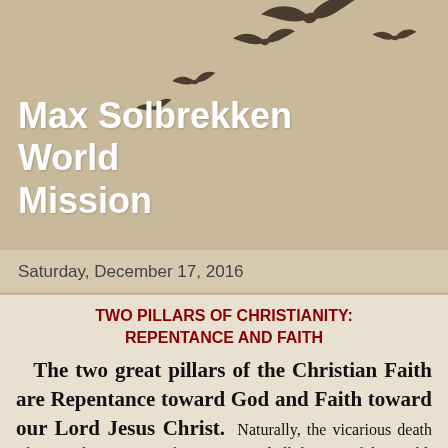Max Solbrekken World Mission
Saturday, December 17, 2016
TWO PILLARS OF CHRISTIANITY: REPENTANCE AND FAITH
The two great pillars of the Christian Faith are Repentance toward God and Faith toward our Lord Jesus Christ. Naturally, the vicarious death of Jesus Christ to atone for our sins and all the sins of the world, past, present and the future, together with His glorious resurrection from the dead, is the Gospel message in a nutshell. The remedy for the problems of the world is the